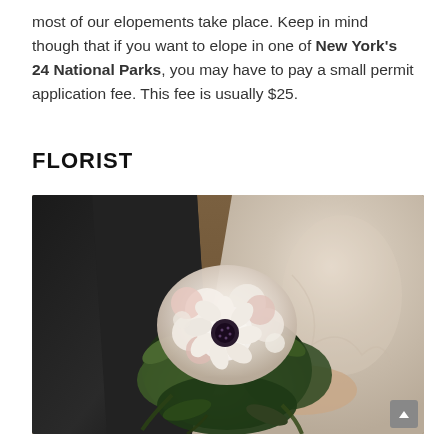most of our elopements take place. Keep in mind though that if you want to elope in one of New York's 24 National Parks, you may have to pay a small permit application fee. This fee is usually $25.
FLORIST
[Figure (photo): A wedding couple standing outdoors. The bride in a white embroidered dress holds a large bouquet of white and blush roses, anemones, and greenery. The groom in a dark suit is partially visible on the left.]